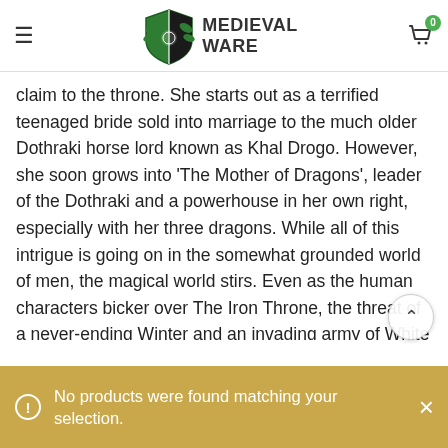Medieval Ware
claim to the throne. She starts out as a terrified teenaged bride sold into marriage to the much older Dothraki horse lord known as Khal Drogo. However, she soon grows into 'The Mother of Dragons', leader of the Dothraki and a powerhouse in her own right, especially with her three dragons. While all of this intrigue is going on in the somewhat grounded world of men, the magical world stirs. Even as the human characters bicker over The Iron Throne, the threat of a never-ending Winter and an invading army of White Walkers and Wights looms beyond an ancient wall of ice to the North. While some characters are aware of this dang many of the more powerful players instead focus on their
No products were found matching your selection.